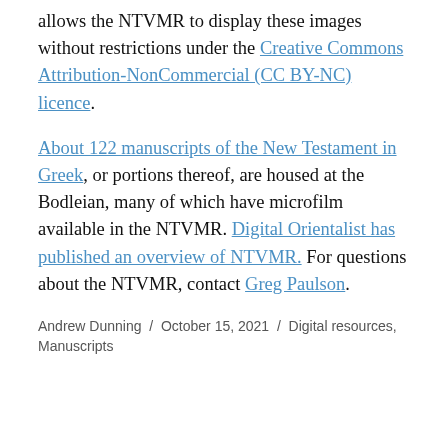allows the NTVMR to display these images without restrictions under the Creative Commons Attribution-NonCommercial (CC BY-NC) licence.
About 122 manuscripts of the New Testament in Greek, or portions thereof, are housed at the Bodleian, many of which have microfilm available in the NTVMR. Digital Orientalist has published an overview of NTVMR. For questions about the NTVMR, contact Greg Paulson.
Andrew Dunning / October 15, 2021 / Digital resources, Manuscripts